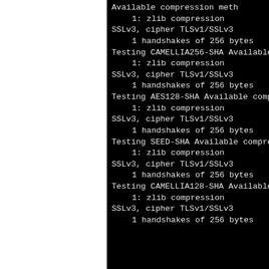Available compression meth
1: zlib compression
SSLv3, cipher TLSv1/SSLv3
1 handshakes of 256 bytes
Testing CAMELLIA256-SHA
Available compression meth
1: zlib compression
SSLv3, cipher TLSv1/SSLv3
1 handshakes of 256 bytes
Testing AES128-SHA
Available compression meth
1: zlib compression
SSLv3, cipher TLSv1/SSLv3
1 handshakes of 256 bytes
Testing SEED-SHA
Available compression meth
1: zlib compression
SSLv3, cipher TLSv1/SSLv3
1 handshakes of 256 bytes
Testing CAMELLIA128-SHA
Available compression meth
1: zlib compression
SSLv3, cipher TLSv1/SSLv3
1 handshakes of 256 bytes